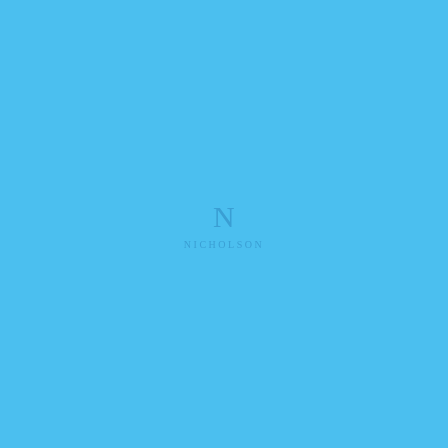[Figure (logo): Nicholson logo: stylized letter N monogram above the word NICHOLSON in spaced serif capitals, rendered in a slightly darker blue on a sky-blue background]